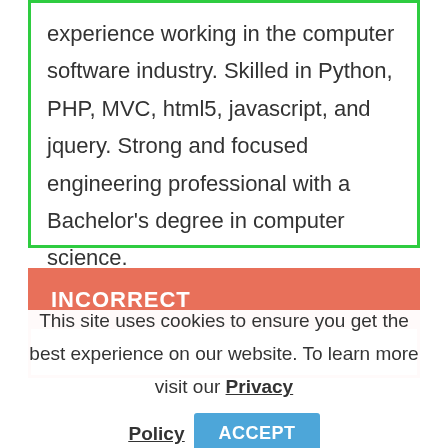experience working in the computer software industry. Skilled in Python, PHP, MVC, html5, javascript, and jquery. Strong and focused engineering professional with a Bachelor's degree in computer science.
INCORRECT
This site uses cookies to ensure you get the best experience on our website. To learn more visit our Privacy Policy